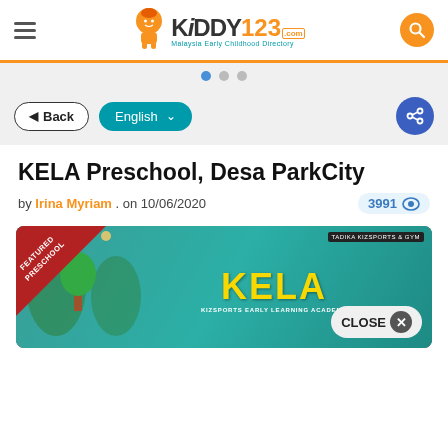Kiddy123 - Malaysia Early Childhood Directory
[Figure (screenshot): Slider with three pagination dots, first dot highlighted blue]
Back | English (dropdown) | Share button
KELA Preschool, Desa ParkCity
by Irina Myriam . on 10/06/2020   3991 views
[Figure (photo): KELA Kizsports Early Learning Academy preschool storefront photo with Featured Preschool badge and CLOSE button overlay]